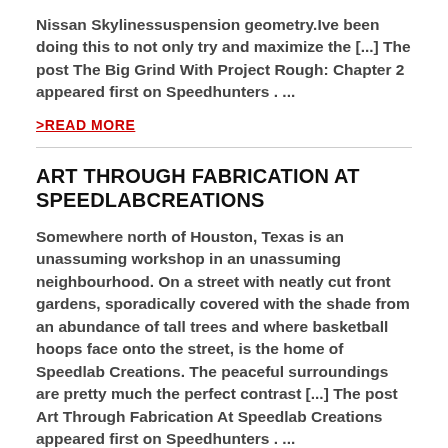Nissan Skylinessuspension geometry.Ive been doing this to not only try and maximize the [...] The post The Big Grind With Project Rough: Chapter 2 appeared first on Speedhunters . ...
>READ MORE
ART THROUGH FABRICATION AT SPEEDLABCREATIONS
Somewhere north of Houston, Texas is an unassuming workshop in an unassuming neighbourhood. On a street with neatly cut front gardens, sporadically covered with the shade from an abundance of tall trees and where basketball hoops face onto the street, is the home of Speedlab Creations. The peaceful surroundings are pretty much the perfect contrast [...] The post Art Through Fabrication At Speedlab Creations appeared first on Speedhunters . ...
>READ MORE